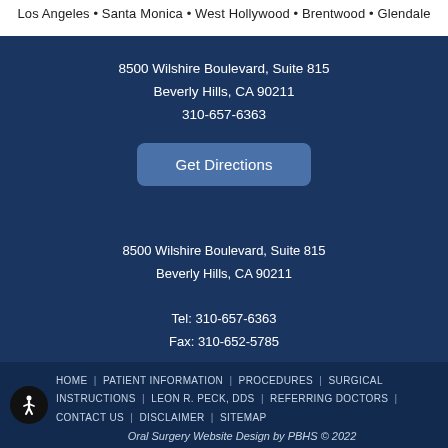Los Angeles • Santa Monica • West Hollywood • Brentwood • Glendale
8500 Wilshire Boulevard, Suite 815
Beverly Hills, CA 90211
310-657-6363
Get Directions
8500 Wilshire Boulevard, Suite 815
Beverly Hills, CA 90211
Tel: 310-657-6363
Fax: 310-652-5785
HOME  PATIENT INFORMATION  PROCEDURES  SURGICAL INSTRUCTIONS  LEON R. PECK, DDS  REFERRING DOCTORS  CONTACT US  DISCLAIMER  SITEMAP
Oral Surgery Website Design by PBHS © 2022